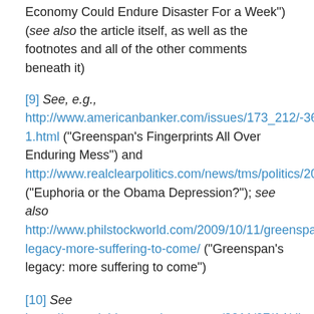Economy Could Endure Disaster For a Week") (see also the article itself, as well as the footnotes and all of the other comments beneath it)
[9] See, e.g., http://www.americanbanker.com/issues/173_212/-365185-1.html ("Greenspan's Fingerprints All Over Enduring Mess") and http://www.realclearpolitics.com/news/tms/politics/2009/Apr/08/euphoria_or_the_obama_depression_.html ("Euphoria or the Obama Depression?"); see also http://www.philstockworld.com/2009/10/11/greenspan's-legacy-more-suffering-to-come/ ("Greenspan's legacy: more suffering to come")
[10] See https://naegeleblog.wordpress.com/2011/07/14/divorces/ (see also the footnotes and comments beneath